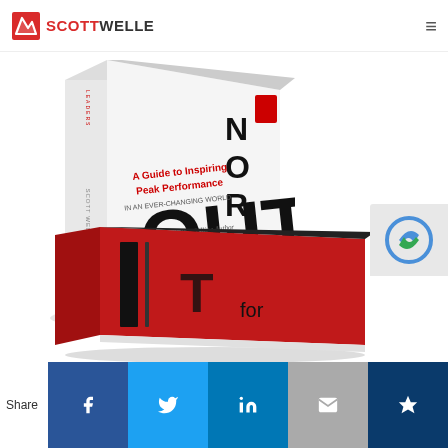SCOTT WELLE
[Figure (photo): Book cover of 'Outperform the Norm' by Scott Welle - A Guide to Inspiring Peak Performance in an Ever-Changing World, #1 Best Selling Author. White cover with bold black OUTPERFORM text on the spine.]
[Figure (photo): Second book by Scott Welle with red cover, partially visible at bottom of page.]
Share | Facebook | Twitter | LinkedIn | Email | Crown